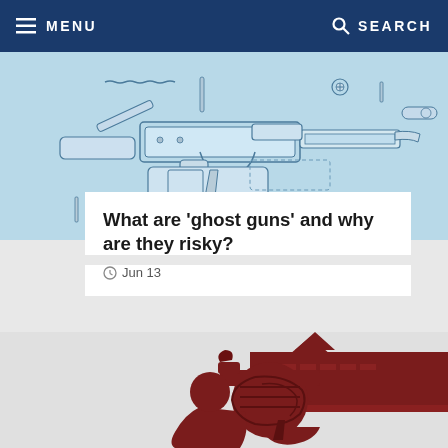MENU  SEARCH
[Figure (illustration): Exploded diagram illustration of a ghost gun / firearm components on light blue background]
What are 'ghost guns' and why are they risky?
Jun 13
[Figure (illustration): Dark red silhouette illustration of a revolver handgun overlaid with a government/capitol building silhouette on grey background]